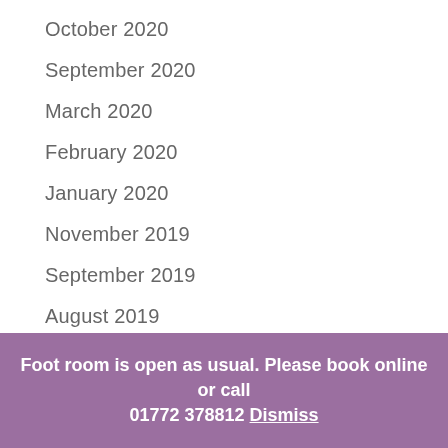October 2020
September 2020
March 2020
February 2020
January 2020
November 2019
September 2019
August 2019
July 2019
June 2019
May 2019
Foot room is open as usual. Please book online or call 01772 378812 Dismiss